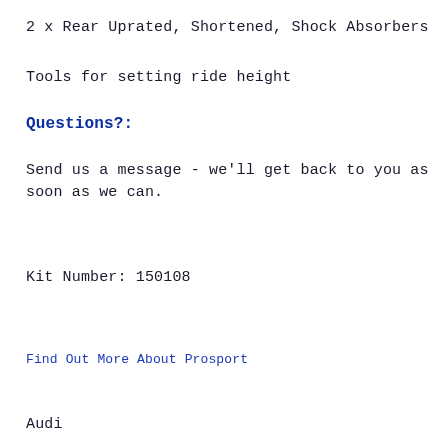2 x Rear Uprated, Shortened, Shock Absorbers
Tools for setting ride height
Questions?:
Send us a message - we'll get back to you as soon as we can.
Kit Number: 150108
Find Out More About Prosport
Audi